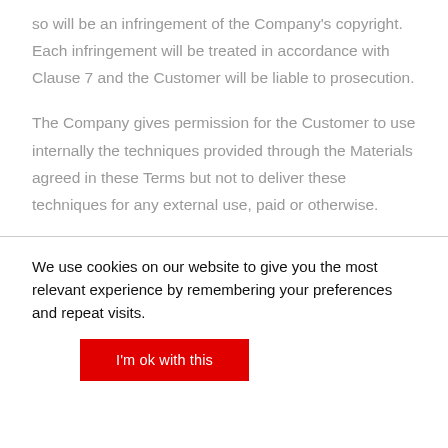so will be an infringement of the Company's copyright. Each infringement will be treated in accordance with Clause 7 and the Customer will be liable to prosecution.
The Company gives permission for the Customer to use internally the techniques provided through the Materials agreed in these Terms but not to deliver these techniques for any external use, paid or otherwise.
We use cookies on our website to give you the most relevant experience by remembering your preferences and repeat visits.
I'm ok with this